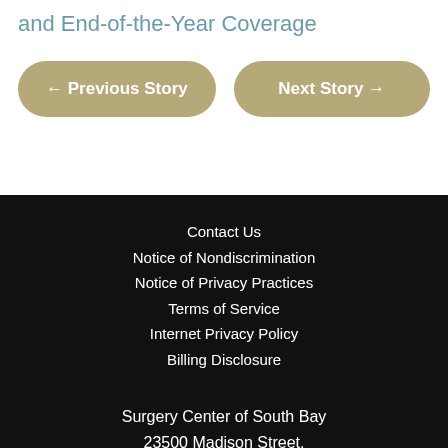and End-of-the-Year Coverage
← Previous Story
Next Story →
Contact Us
Notice of Nondiscrimination
Notice of Privacy Practices
Terms of Service
Internet Privacy Policy
Billing Disclosure
Surgery Center of South Bay
23500 Madison Street,